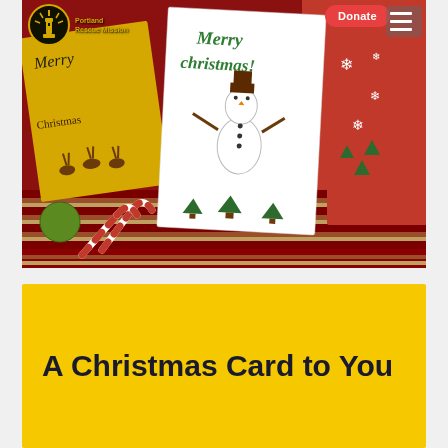[Figure (photo): Hero photo of handmade Christmas cards (yellow, white, red) with a snowman drawing and 'Merry Christmas' text, displayed on a striped red tablecloth with candy canes. Portland Rescue Mission logo at top-left, red Donate button, and hamburger menu at top-right.]
A Christmas Card to You